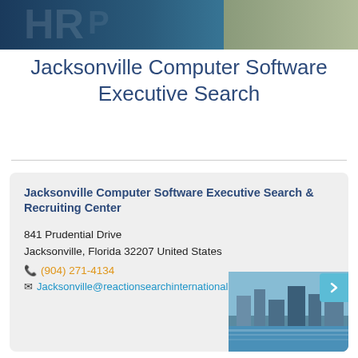[Figure (photo): Header banner image with dark teal/blue tones showing keyboard or circuit board elements, and a light olive/sage color on the right portion]
Jacksonville Computer Software Executive Search
[Figure (photo): City photo of Jacksonville waterfront with buildings and waterway, partially visible in bottom-right of the card]
Jacksonville Computer Software Executive Search & Recruiting Center
841 Prudential Drive
Jacksonville, Florida 32207 United States
☎ (904) 271-4134
✉ Jacksonville@reactionsearchinternational.com